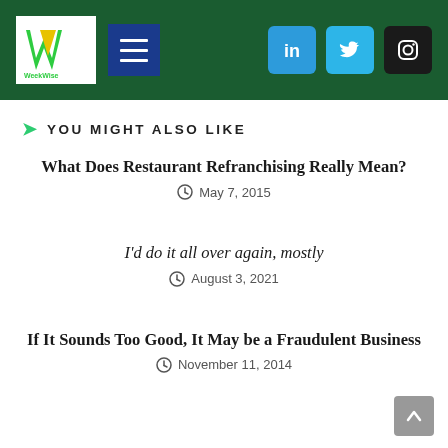WeekWise navigation bar with logo, menu, LinkedIn, Twitter, Instagram icons
YOU MIGHT ALSO LIKE
What Does Restaurant Refranchising Really Mean?
May 7, 2015
I'd do it all over again, mostly
August 3, 2021
If It Sounds Too Good, It May be a Fraudulent Business
November 11, 2014